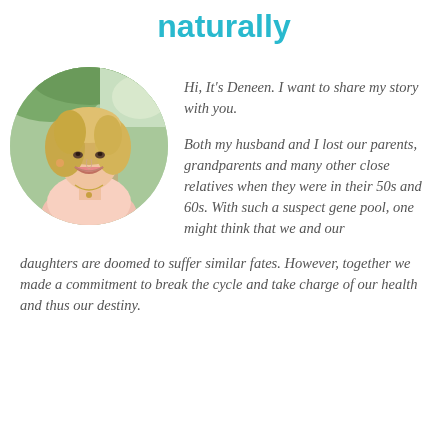naturally
[Figure (photo): Circular portrait photo of a blonde woman smiling, seated outdoors near a wooden bench with green foliage in the background]
Hi, It's Deneen.   I want to share my story with you.

Both my husband and I  lost our parents, grandparents and many other close relatives when they were in their 50s and 60s.  With such a suspect gene pool, one might think that we and our daughters are doomed to suffer similar fates.  However, together we made a commitment to break the cycle and take charge of our health and thus our destiny.